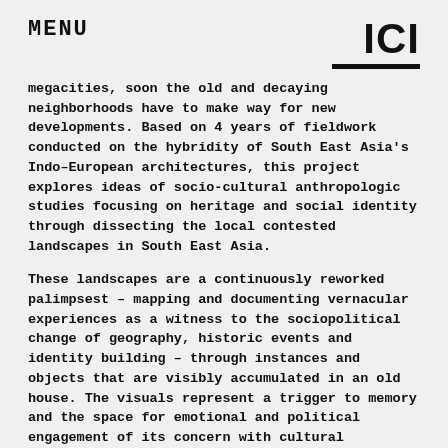MENU
[Figure (logo): ICI logo — bold block letters I, C, I with a thick horizontal bar underneath]
megacities, soon the old and decaying neighborhoods have to make way for new developments. Based on 4 years of fieldwork conducted on the hybridity of South East Asia's Indo–European architectures, this project explores ideas of socio-cultural anthropologic studies focusing on heritage and social identity through dissecting the local contested landscapes in South East Asia.
These landscapes are a continuously reworked palimpsest – mapping and documenting vernacular experiences as a witness to the sociopolitical change of geography, historic events and identity building – through instances and objects that are visibly accumulated in an old house. The visuals represent a trigger to memory and the space for emotional and political engagement of its concern with cultural similarities and differences, both within and amongst South East Asian and European societies.